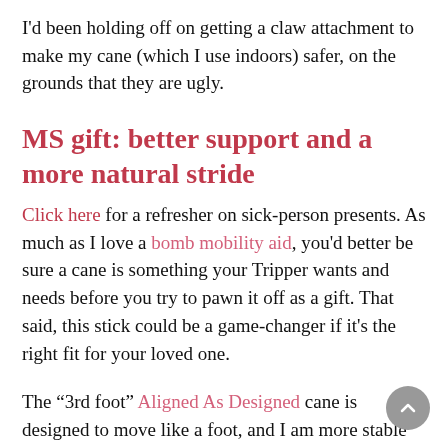I'd been holding off on getting a claw attachment to make my cane (which I use indoors) safer, on the grounds that they are ugly.
MS gift: better support and a more natural stride
Click here for a refresher on sick-person presents. As much as I love a bomb mobility aid, you'd better be sure a cane is something your Tripper wants and needs before you try to pawn it off as a gift. That said, this stick could be a game-changer if it's the right fit for your loved one.
The “3rd foot” Aligned As Designed cane is designed to move like a foot, and I am more stable with this stick. The Banker likes it too; because when I knock it over—as one does—the rubber handle and foot mean the crash isn’t